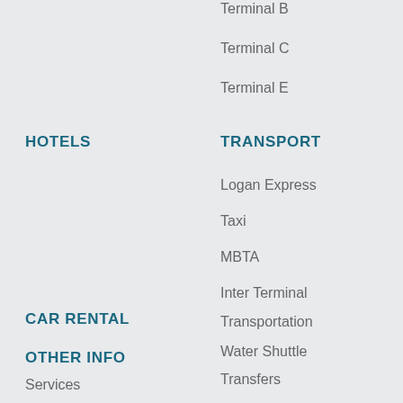Terminal B
Terminal C
Terminal E
HOTELS
TRANSPORT
Logan Express
Taxi
MBTA
Inter Terminal
Transportation
Water Shuttle
Transfers
Bus
CAR RENTAL
PARKING
OTHER INFO
Services
Map